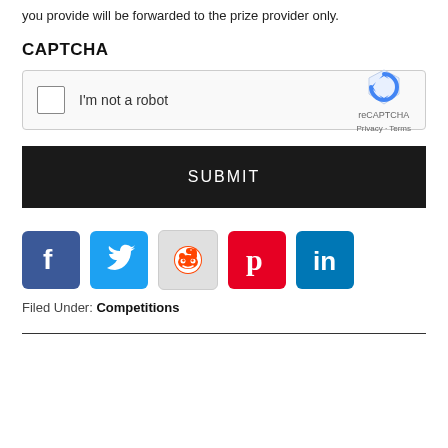you provide will be forwarded to the prize provider only.
CAPTCHA
[Figure (screenshot): reCAPTCHA widget with checkbox 'I'm not a robot' and reCAPTCHA logo with Privacy and Terms links]
SUBMIT
[Figure (infographic): Social media share icons: Facebook, Twitter, Reddit, Pinterest, LinkedIn]
Filed Under: Competitions